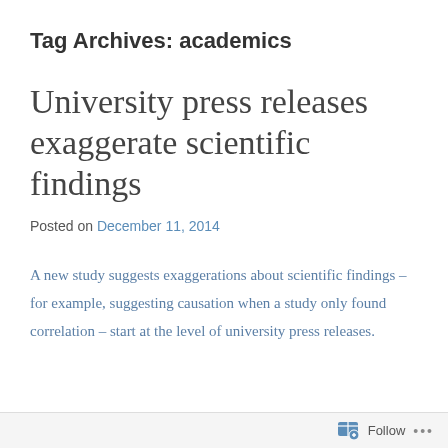Tag Archives: academics
University press releases exaggerate scientific findings
Posted on December 11, 2014
A new study suggests exaggerations about scientific findings – for example, suggesting causation when a study only found correlation – start at the level of university press releases.
Follow